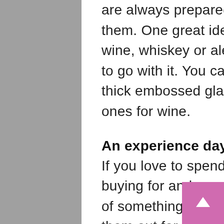are always prepared with at least one gift idea for them. One great idea would be to buy a bottle of wine, whiskey or ale and think about buying a glass to go with it. You can buy tankards for beer and ale, thick embossed glasses for whiskey or sparkling ones for wine.
An experience day
If you love to spend time with the person you are buying for and you simply don't have any other ideas of something to buy for them, why not either take them out for a day shopping and lunch, or take them for an experience day? There are experience days to suit everyone so you can look at things like driving experiences, helicopter rides, wine